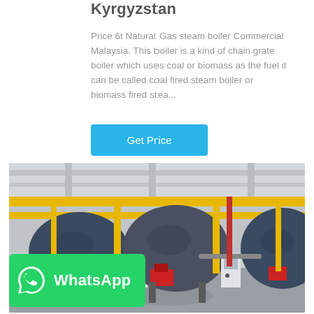Kyrgyzstan
Price 6t Natural Gas steam boiler Commercial Malaysia. This boiler is a kind of chain grate boiler which uses coal or biomass as the fuel it can be called coal fired steam boiler or biomass fired stea...
Get Price
[Figure (photo): Industrial boiler room with three large cylindrical steam boilers (dark blue/grey), yellow overhead pipes, red burner nozzles, control panels, and concrete floor inside a factory building.]
[Figure (logo): WhatsApp logo and text on a green button overlay in bottom-left of the photo.]